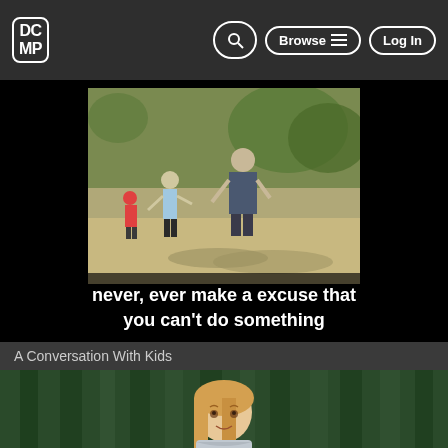DCMP | Browse | Log In
[Figure (screenshot): Video thumbnail showing two people running together on a playground or outdoor area, with other children visible in background. White subtitle text overlaid at bottom reading: never, ever make a excuse that you can't do something]
A Conversation With Kids
[Figure (screenshot): Video thumbnail showing a young girl with blonde hair standing in front of dark green curtain backdrop]